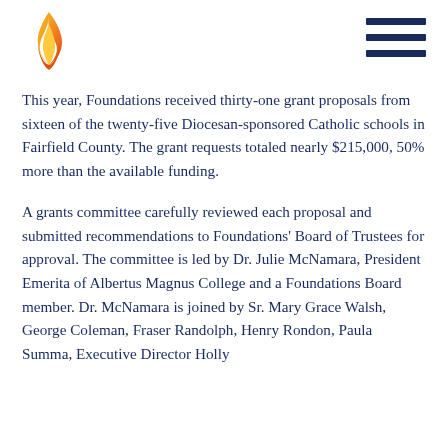[Figure (logo): Orange flame logo in top left corner]
[Figure (other): Hamburger menu icon (three dark navy horizontal lines) in top right corner]
This year, Foundations received thirty-one grant proposals from sixteen of the twenty-five Diocesan-sponsored Catholic schools in Fairfield County. The grant requests totaled nearly $215,000, 50% more than the available funding.
A grants committee carefully reviewed each proposal and submitted recommendations to Foundations' Board of Trustees for approval. The committee is led by Dr. Julie McNamara, President Emerita of Albertus Magnus College and a Foundations Board member. Dr. McNamara is joined by Sr. Mary Grace Walsh, George Coleman, Fraser Randolph, Henry Rondon, Paula Summa, Executive Director Holly Roberts, and Superintendent of Schools Dr. St...